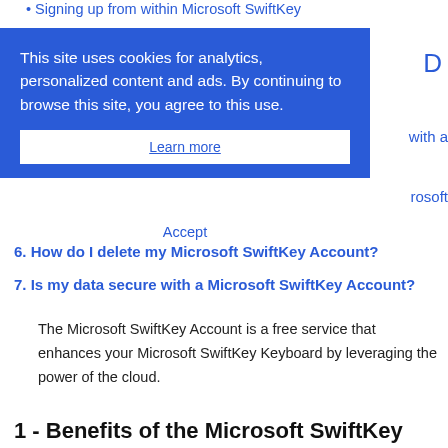Signing up from within Microsoft SwiftKey
[Figure (screenshot): Cookie consent banner overlay with blue background reading: 'This site uses cookies for analytics, personalized content and ads. By continuing to browse this site, you agree to this use.' with a 'Learn more' link and an 'Accept' button below.]
6. How do I delete my Microsoft SwiftKey Account?
7. Is my data secure with a Microsoft SwiftKey Account?
The Microsoft SwiftKey Account is a free service that enhances your Microsoft SwiftKey Keyboard by leveraging the power of the cloud.
1 - Benefits of the Microsoft SwiftKey